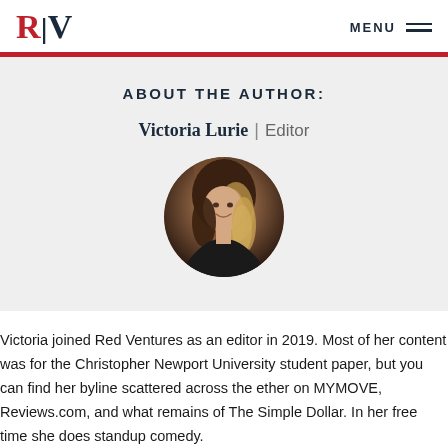R|V  MENU
ABOUT THE AUTHOR:
Victoria Lurie | Editor
[Figure (photo): Circular cropped headshot photo of Victoria Lurie, a young woman with long dark-to-blonde ombre hair, smiling, wearing a dark jacket.]
Victoria joined Red Ventures as an editor in 2019. Most of her content was for the Christopher Newport University student paper, but you can find her byline scattered across the ether on MYMOVE, Reviews.com, and what remains of The Simple Dollar. In her free time she does standup comedy.